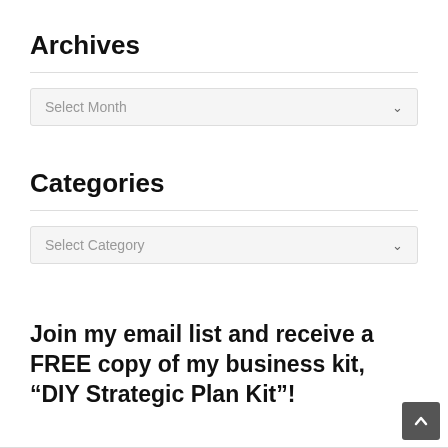Archives
[Figure (other): Dropdown selector widget with label 'Select Month' and chevron icon]
Categories
[Figure (other): Dropdown selector widget with label 'Select Category' and chevron icon]
Join my email list and receive a FREE copy of my business kit, “DIY Strategic Plan Kit”!